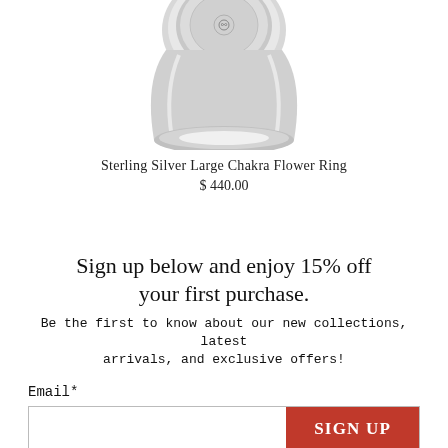[Figure (photo): Partial view of a sterling silver ring from above, showing the top portion of the band and decorative face with engraved pattern, on white background]
Sterling Silver Large Chakra Flower Ring
$ 440.00
Sign up below and enjoy 15% off your first purchase.
Be the first to know about our new collections, latest arrivals, and exclusive offers!
Email*
SIGN UP